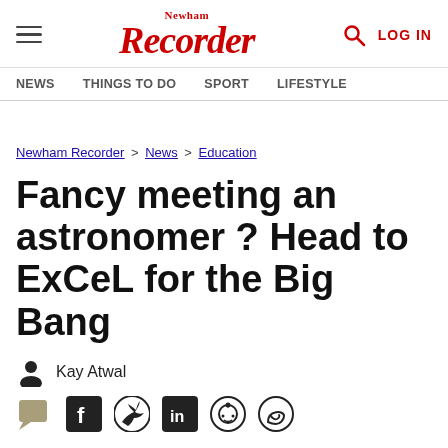Newham Recorder — NEWS | THINGS TO DO | SPORT | LIFESTYLE | LOG IN
Newham Recorder > News > Education
Fancy meeting an astronomer ? Head to ExCeL for the Big Bang
Kay Atwal